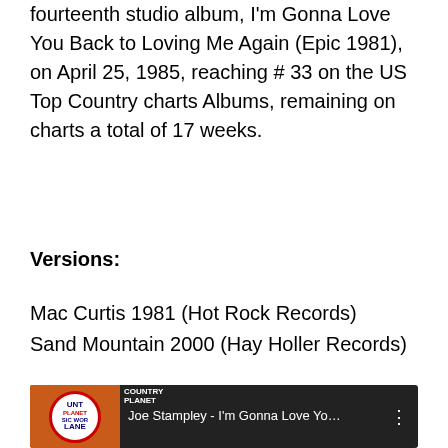fourteenth studio album, I'm Gonna Love You Back to Loving Me Again (Epic 1981), on April 25, 1985, reaching # 33 on the US Top Country charts Albums, remaining on charts a total of 17 weeks.
Versions:
Mac Curtis 1981 (Hot Rock Records)
Sand Mountain 2000 (Hay Holler Records)
[Figure (screenshot): YouTube video thumbnail showing 'Joe Stampley - I'm Gonna Love Yo...' with Country Planet / Music World / Lane logos on the left and a three-dot menu icon on the right, over a dark background with a performer visible.]